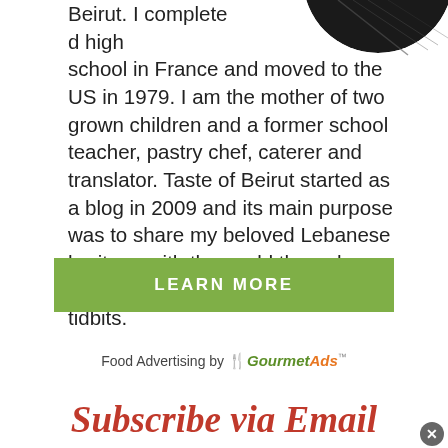[Figure (photo): Partial circular portrait photo of a person, cropped at top of page, dark background]
Beirut. I completed high school in France and moved to the US in 1979. I am the mother of two grown children and a former school teacher, pastry chef, caterer and translator. Taste of Beirut started as a blog in 2009 and its main purpose was to share my beloved Lebanese heritage with the world through recipes, anecdotes, and cultural tidbits.
LEARN MORE
Food Advertising by GourmetAds
Subscribe via Email